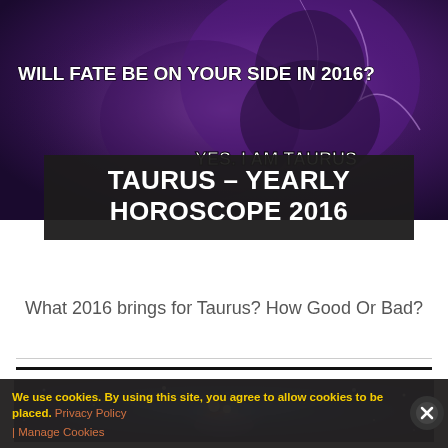[Figure (illustration): Dark purple fantasy illustration of a Taurus bull figure with text overlays: 'WILL FATE BE ON YOUR SIDE IN 2016?' and 'YES. I AM TAURUS']
TAURUS – YEARLY HOROSCOPE 2016
What 2016 brings for Taurus? How Good Or Bad?
[Figure (illustration): Blue cosmic/space illustration with glowing lights and celestial imagery]
We use cookies. By using this site, you agree to allow cookies to be placed. Privacy Policy | Manage Cookies